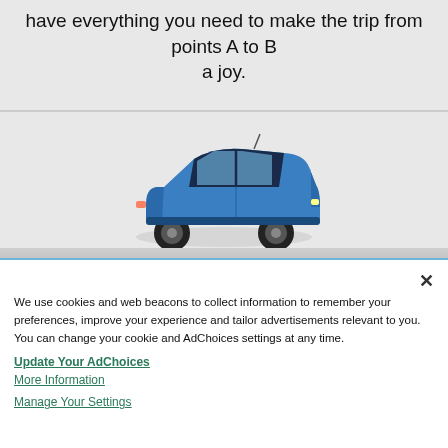have everything you need to make the trip from points A to B a joy.
[Figure (photo): A blue compact hatchback car viewed from the side against a light grey background.]
We use cookies and web beacons to collect information to remember your preferences, improve your experience and tailor advertisements relevant to you. You can change your cookie and AdChoices settings at any time.
Update Your AdChoices
More Information
Manage Your Settings